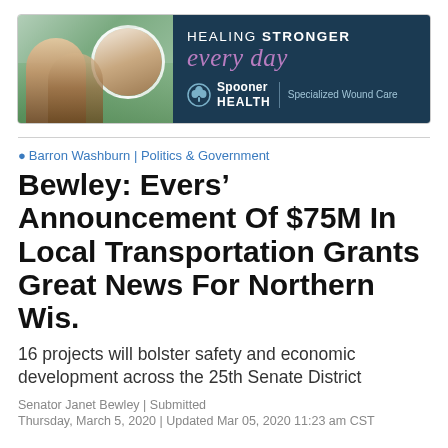[Figure (illustration): Advertisement banner for Spooner Health Specialized Wound Care. Dark navy background with photo of smiling elderly couple on the left. Text reads 'HEALING STRONGER every day' with Spooner Health logo and 'Specialized Wound Care' tagline.]
Barron Washburn | Politics & Government
Bewley: Evers’ Announcement Of $75M In Local Transportation Grants Great News For Northern Wis.
16 projects will bolster safety and economic development across the 25th Senate District
Senator Janet Bewley | Submitted
Thursday, March 5, 2020 | Updated Mar 05, 2020 11:23 am CST